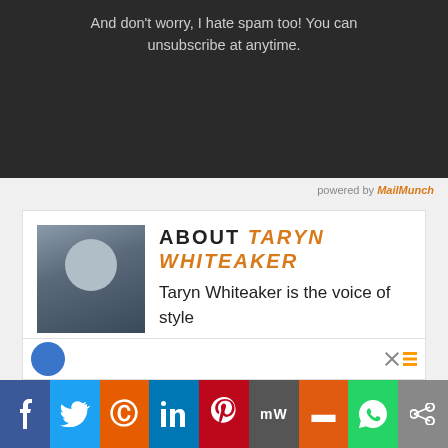And don't worry, I hate spam too! You can unsubscribe at anytime.
powered by MailMunch
ABOUT TARYN WHITEAKER
Taryn Whiteaker is the voice of style behind TarynWhiteaker.com (formerly Design, Dining and Diapers) ! Taryn is a previous PR/Marketing professional who got back to her creative roots after becoming a mom and now shares her passion for home decor and design for the world to see. Taryn lives in the greater